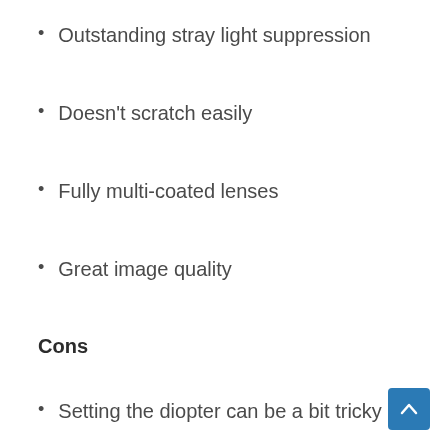Outstanding stray light suppression
Doesn't scratch easily
Fully multi-coated lenses
Great image quality
Cons
Setting the diopter can be a bit tricky